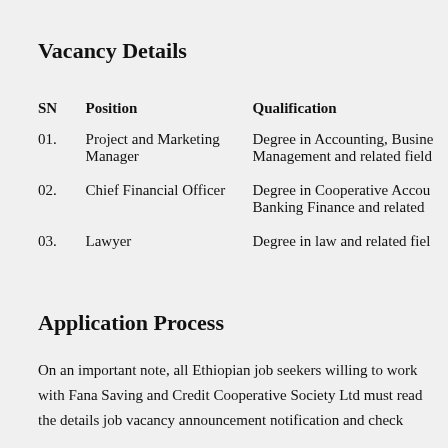Vacancy Details
| SN | Position | Qualification |
| --- | --- | --- |
| 01. | Project and Marketing Manager | Degree in Accounting, Business Management and related field |
| 02. | Chief Financial Officer | Degree in Cooperative Accounting, Banking Finance and related |
| 03. | Lawyer | Degree in law and related field |
Application Process
On an important note, all Ethiopian job seekers willing to work with Fana Saving and Credit Cooperative Society Ltd must read the details job vacancy announcement notification and check